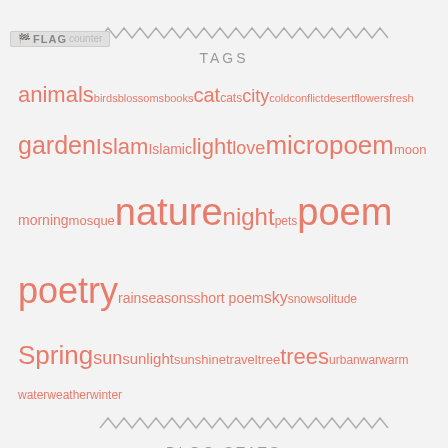[Figure (logo): FLAG counter logo/badge at top left]
TAGS
animals birds blossoms books cat cats city cold conflict desert flowers fresh garden Islam Islamic light love micropoem moon morning mosque nature night pets poem poetry rain seasons short poem sky snow solitude Spring sun sunlight sunshine travel tree trees urban war warm water weather winter
BLOG STATS
18,122 hits